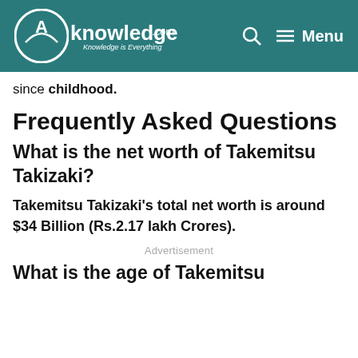AKnowledge.com — Menu
since childhood.
Frequently Asked Questions
What is the net worth of Takemitsu Takizaki?
Takemitsu Takizaki's total net worth is around $34 Billion (Rs.2.17 lakh Crores).
Advertisement
What is the age of Takemitsu